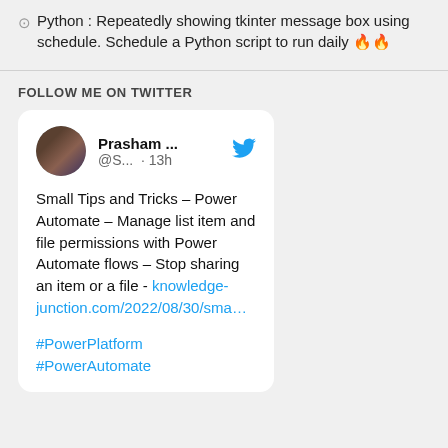Python : Repeatedly showing tkinter message box using schedule. Schedule a Python script to run daily 🔥🔥
FOLLOW ME ON TWITTER
[Figure (screenshot): Tweet card from user 'Prasham ...' (@S...) posted 13h ago, with Twitter bird icon. Tweet text: 'Small Tips and Tricks – Power Automate – Manage list item and file permissions with Power Automate flows – Stop sharing an item or a file - knowledge-junction.com/2022/08/30/sma…' with hashtags #PowerPlatform #PowerAutomate]
#PowerPlatform
#PowerAutomate